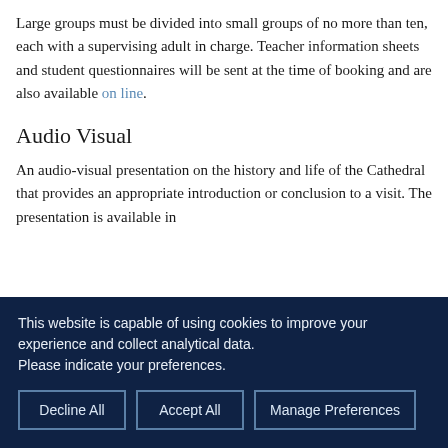Large groups must be divided into small groups of no more than ten, each with a supervising adult in charge. Teacher information sheets and student questionnaires will be sent at the time of booking and are also available on line.
Audio Visual
An audio-visual presentation on the history and life of the Cathedral that provides an appropriate introduction or conclusion to a visit. The presentation is available in
This website is capable of using cookies to improve your experience and collect analytical data.
Please indicate your preferences.